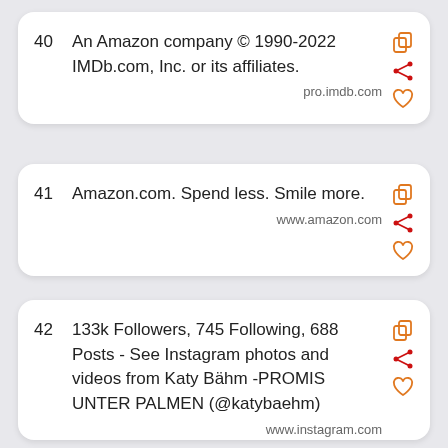40  An Amazon company © 1990-2022 IMDb.com, Inc. or its affiliates.
pro.imdb.com
41  Amazon.com. Spend less. Smile more.
www.amazon.com
42  133k Followers, 745 Following, 688 Posts - See Instagram photos and videos from Katy Bähm -PROMIS UNTER PALMEN (@katybaehm)
www.instagram.com